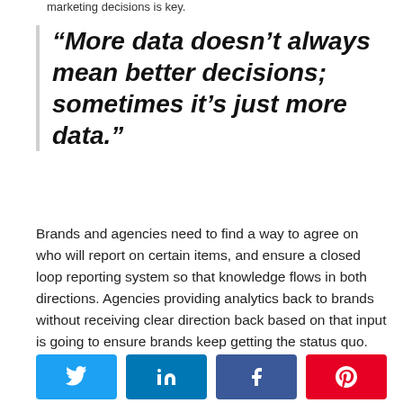marketing decisions is key.
“More data doesn’t always mean better decisions; sometimes it’s just more data.”
Brands and agencies need to find a way to agree on who will report on certain items, and ensure a closed loop reporting system so that knowledge flows in both directions. Agencies providing analytics back to brands without receiving clear direction back based on that input is going to ensure brands keep getting the status quo.
[Figure (other): Social sharing buttons: Twitter (blue), LinkedIn (dark blue), Facebook (blue), Pinterest (red)]